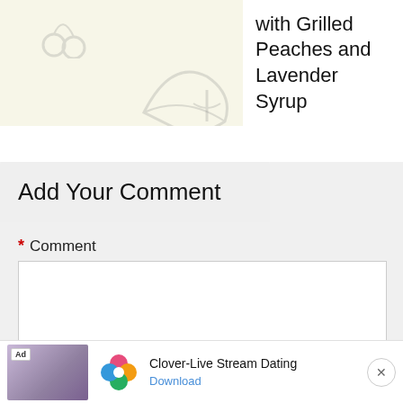[Figure (illustration): Decorative banner with cream background, light gray cherry and leaf illustrations on left, and white panel on right showing partial recipe title text.]
with Grilled Peaches and Lavender Syrup
Add Your Comment
* Comment
[Figure (screenshot): Advertisement banner for Clover-Live Stream Dating app showing a woman's photo, the app icon with colorful clover logo, app name, and Download link. Labeled Ad with close button.]